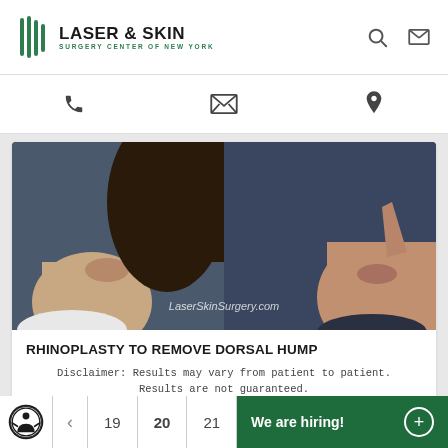[Figure (logo): Laser & Skin Surgery Center of New York logo with green stylized leaf/stripe icon]
[Figure (photo): Before and after side profile photos of a patient showing rhinoplasty to remove dorsal hump. Left image shows profile before, right image shows profile after. Watermark reads LaserSkinSurgery.com]
RHINOPLASTY TO REMOVE DORSAL HUMP
Disclaimer: Results may vary from patient to patient. Results are not guaranteed.
19  20  21  We are hiring!